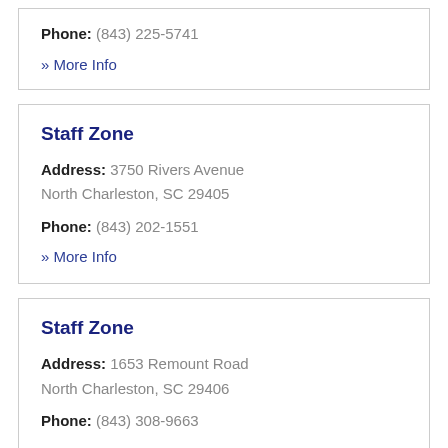Phone: (843) 225-5741
» More Info
Staff Zone
Address: 3750 Rivers Avenue North Charleston, SC 29405
Phone: (843) 202-1551
» More Info
Staff Zone
Address: 1653 Remount Road North Charleston, SC 29406
Phone: (843) 308-9663